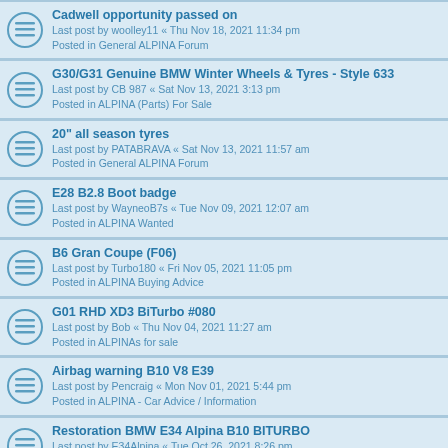Cadwell opportunity passed on
Last post by woolley11 « Thu Nov 18, 2021 11:34 pm
Posted in General ALPINA Forum
G30/G31 Genuine BMW Winter Wheels & Tyres - Style 633
Last post by CB 987 « Sat Nov 13, 2021 3:13 pm
Posted in ALPINA (Parts) For Sale
20" all season tyres
Last post by PATABRAVA « Sat Nov 13, 2021 11:57 am
Posted in General ALPINA Forum
E28 B2.8 Boot badge
Last post by WayneoB7s « Tue Nov 09, 2021 12:07 am
Posted in ALPINA Wanted
B6 Gran Coupe (F06)
Last post by Turbo180 « Fri Nov 05, 2021 11:05 pm
Posted in ALPINA Buying Advice
G01 RHD XD3 BiTurbo #080
Last post by Bob « Thu Nov 04, 2021 11:27 am
Posted in ALPINAs for sale
Airbag warning B10 V8 E39
Last post by Pencraig « Mon Nov 01, 2021 5:44 pm
Posted in ALPINA - Car Advice / Information
Restoration BMW E34 Alpina B10 BITURBO
Last post by E34Alpina « Tue Oct 26, 2021 8:26 pm
Posted in General ALPINA Forum
F31 Travall Dog guard and boot divider
Last post by MikeR « Wed Oct 20, 2021 5:28 pm